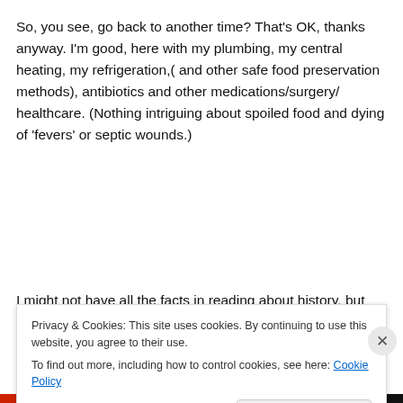So, you see, go back to another time? That's OK, thanks anyway. I'm good, here with my plumbing, my central heating, my refrigeration,( and other safe food preservation methods), antibiotics and other medications/surgery/ healthcare. (Nothing intriguing about spoiled food and dying of 'fevers' or septic wounds.)
I might not have all the facts in reading about history, but
Privacy & Cookies: This site uses cookies. By continuing to use this website, you agree to their use.
To find out more, including how to control cookies, see here: Cookie Policy